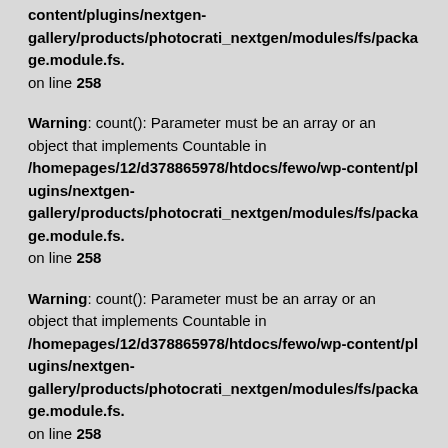content/plugins/nextgen-gallery/products/photocrati_nextgen/modules/fs/package.module.fs. on line 258
Warning: count(): Parameter must be an array or an object that implements Countable in /homepages/12/d378865978/htdocs/fewo/wp-content/plugins/nextgen-gallery/products/photocrati_nextgen/modules/fs/package.module.fs. on line 258
Warning: count(): Parameter must be an array or an object that implements Countable in /homepages/12/d378865978/htdocs/fewo/wp-content/plugins/nextgen-gallery/products/photocrati_nextgen/modules/fs/package.module.fs. on line 258
Warning: count(): Parameter must be an array or an object that implements Countable in /homepages/12/d378865978/htdocs/fewo/wp-content/plugins/nextgen-gallery/products/photocrati_nextgen/modules/fs/package.module.fs. on line 258
Warning: count(): Parameter must be an array or an object that implements Countable in /homepages/12/d378865978/htdocs/fewo/wp-content/plugins/nextgen-gallery/products/photocrati_nextgen/modules/fs/package.module.fs.